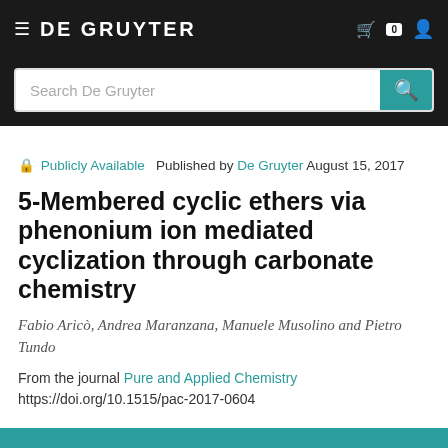DE GRUYTER
Publicly Available   Published by De Gruyter August 15, 2017
5-Membered cyclic ethers via phenonium ion mediated cyclization through carbonate chemistry
Fabio Aricò, Andrea Maranzana, Manuele Musolino and Pietro Tundo
From the journal Pure and Applied Chemistry
https://doi.org/10.1515/pac-2017-0604